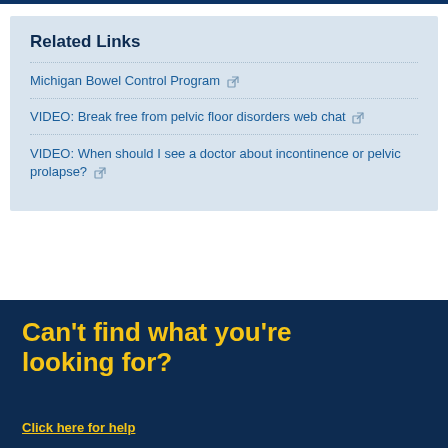Related Links
Michigan Bowel Control Program
VIDEO: Break free from pelvic floor disorders web chat
VIDEO: When should I see a doctor about incontinence or pelvic prolapse?
Can't find what you're looking for?
Click here for help